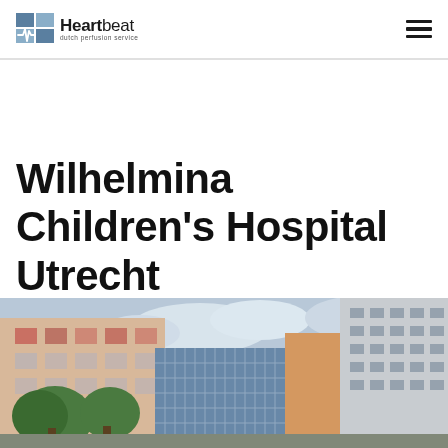Heartbeat dutch perfusion service
Wilhelmina Children's Hospital Utrecht
[Figure (photo): Exterior photograph of Wilhelmina Children's Hospital Utrecht showing modern hospital building with glass facade, orange/beige cladding, and green trees in the foreground under a cloudy sky.]